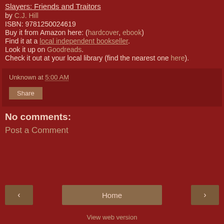Slayers: Friends and Traitors
by C.J. Hill
ISBN: 9781250024619
Buy it from Amazon here: (hardcover, ebook)
Find it at a local independent bookseller.
Look it up on Goodreads.
Check it out at your local library (find the nearest one here).
Unknown at 5:00 AM
Share
No comments:
Post a Comment
< Home >
View web version